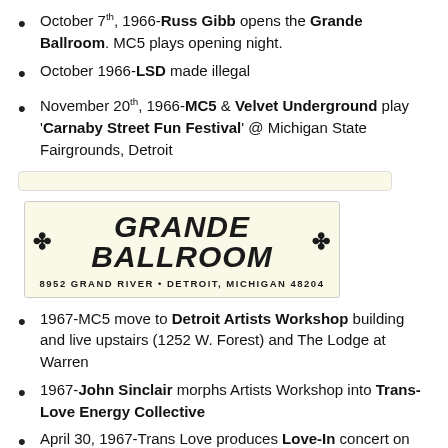October 7th, 1966-Russ Gibb opens the Grande Ballroom. MC5 plays opening night.
October 1966-LSD made illegal
November 20th, 1966-MC5 & Velvet Underground play 'Carnaby Street Fun Festival' @ Michigan State Fairgrounds, Detroit
[Figure (logo): Grande Ballroom logo with decorative psychedelic lettering and address: 8952 Grand River • Detroit, Michigan 48204]
1967-MC5 move to Detroit Artists Workshop building and live upstairs (1252 W. Forest) and The Lodge at Warren
1967-John Sinclair morphs Artists Workshop into Trans-Love Energy Collective
April 30, 1967-Trans Love produces Love-In concert on Belle Isle @ Remick Music Shell. MC5 plays for